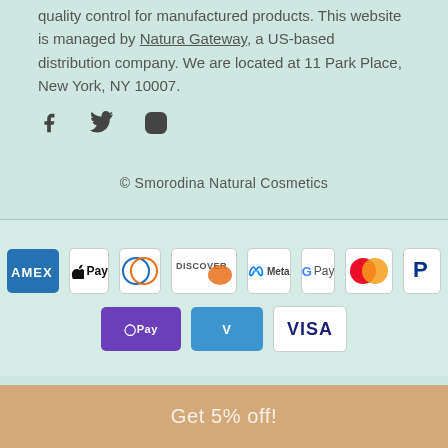quality control for manufactured products. This website is managed by Natura Gateway, a US-based distribution company. We are located at 11 Park Place, New York, NY 10007.
[Figure (illustration): Social media icons: Facebook (f), Twitter (bird), Instagram (circle camera)]
© Smorodina Natural Cosmetics
[Figure (illustration): Payment method logos in two rows: Row 1: Amex, Apple Pay, Diners Club, Discover, Meta Pay, Google Pay, Mastercard, PayPal. Row 2: OPay, Venmo, Visa.]
Get 5% off!